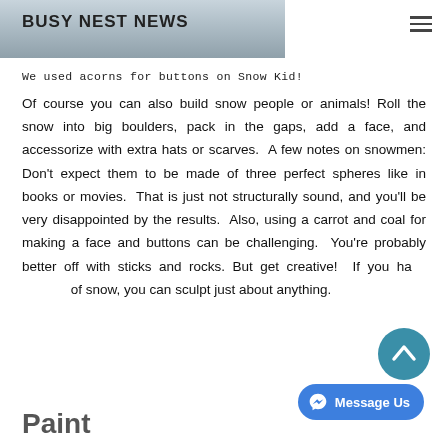BUSY NEST NEWS
We used acorns for buttons on Snow Kid!
Of course you can also build snow people or animals! Roll the snow into big boulders, pack in the gaps, add a face, and accessorize with extra hats or scarves.  A few notes on snowmen: Don't expect them to be made of three perfect spheres like in books or movies.  That is just not structurally sound, and you'll be very disappointed by the results.  Also, using a carrot and coal for making a face and buttons can be challenging.  You're probably better off with sticks and rocks. But get creative!  If you have enough snow, you can sculpt just about anything.
Paint